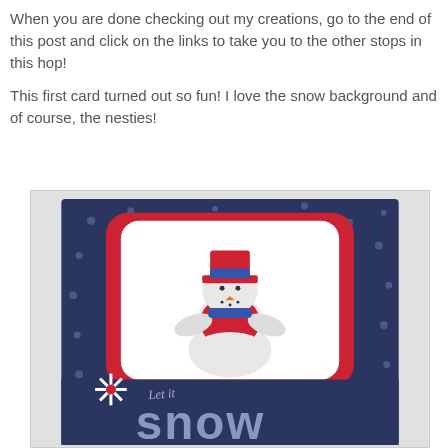When you are done checking out my creations, go to the end of this post and click on the links to take you to the other stops in this hop!

This first card turned out so fun! I love the snow background and of course, the nesties!
[Figure (photo): A handmade greeting card featuring a snowman with wings wearing a red coat and blue scarf and hat, on a navy blue polka dot background. The snowman is centered in a white panel with red decorative frame. At the bottom of the card reads 'Let it snow' with white snowflake embellishments. The card is displayed propped up on a wooden surface.]